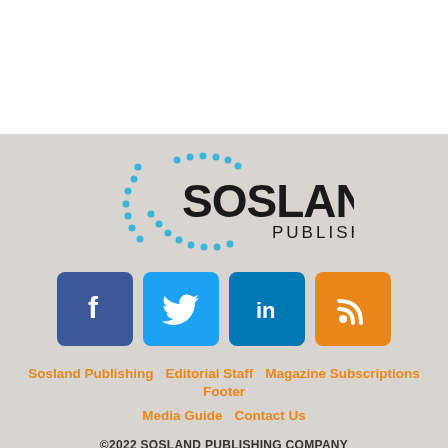[Figure (logo): Sosland Publishing logo with dotted circle and company name]
[Figure (infographic): Social media icons: Facebook (dark blue), Twitter (light blue), LinkedIn (teal blue), RSS (orange)]
Sosland Publishing   Editorial Staff   Magazine Subscriptions   Footer
Media Guide   Contact Us
©2022 SOSLAND PUBLISHING COMPANY
Privacy Policy & Terms Of Use  |  Terms & Conditions for Advertisers
Design, CMS, Hosting & Web Development :: ePublishing